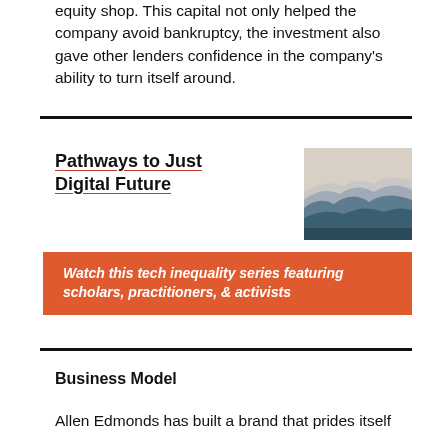equity shop. This capital not only helped the company avoid bankruptcy, the investment also gave other lenders confidence in the company's ability to turn itself around.
[Figure (other): Promotional block for 'Pathways to Just Digital Future' series featuring a mountain landscape image and an orange banner with text 'Watch this tech inequality series featuring scholars, practitioners, & activists']
Business Model
Allen Edmonds has built a brand that prides itself